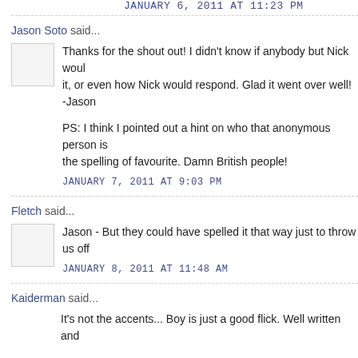JANUARY 6, 2011 AT 11:23 PM
Jason Soto said...
Thanks for the shout out! I didn't know if anybody but Nick would read it, or even how Nick would respond. Glad it went over well! -Jason

PS: I think I pointed out a hint on who that anonymous person is the spelling of favourite. Damn British people!
JANUARY 7, 2011 AT 9:03 PM
Fletch said...
Jason - But they could have spelled it that way just to throw us off
JANUARY 8, 2011 AT 11:48 AM
Kaiderman said...
It's not the accents... Boy is just a good flick. Well written and